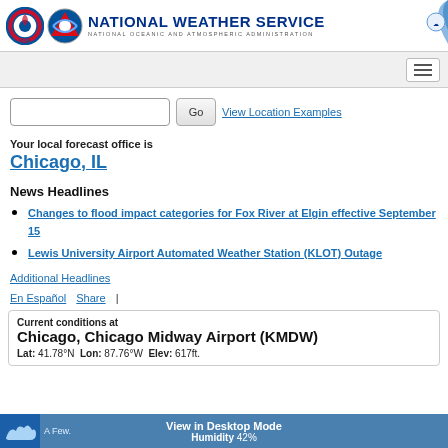NATIONAL WEATHER SERVICE — NATIONAL OCEANIC AND ATMOSPHERIC ADMINISTRATION
Your local forecast office is
Chicago, IL
News Headlines
Changes to flood impact categories for Fox River at Elgin effective September 15
Lewis University Airport Automated Weather Station (KLOT) Outage
Additional Headlines
En Español   Share |
Current conditions at
Chicago, Chicago Midway Airport (KMDW)
Lat: 41.78°N  Lon: 87.76°W  Elev: 617ft.
View in Desktop Mode
Humidity 42%
A Few.